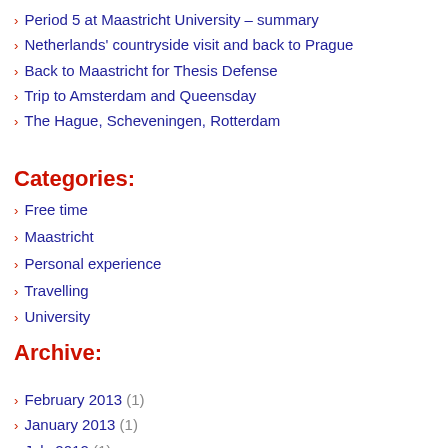Period 5 at Maastricht University – summary
Netherlands' countryside visit and back to Prague
Back to Maastricht for Thesis Defense
Trip to Amsterdam and Queensday
The Hague, Scheveningen, Rotterdam
Categories:
Free time
Maastricht
Personal experience
Travelling
University
Archive:
February 2013 (1)
January 2013 (1)
July 2012 (1)
June 2012 (3)